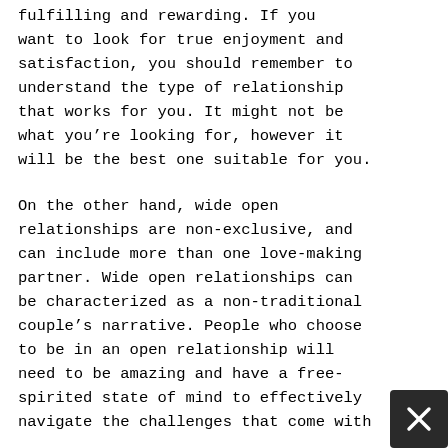fulfilling and rewarding. If you want to look for true enjoyment and satisfaction, you should remember to understand the type of relationship that works for you. It might not be what you're looking for, however it will be the best one suitable for you.
On the other hand, wide open relationships are non-exclusive, and can include more than one love-making partner. Wide open relationships can be characterized as a non-traditional couple's narrative. People who choose to be in an open relationship will need to be amazing and have a free-spirited state of mind to effectively navigate the challenges that come with